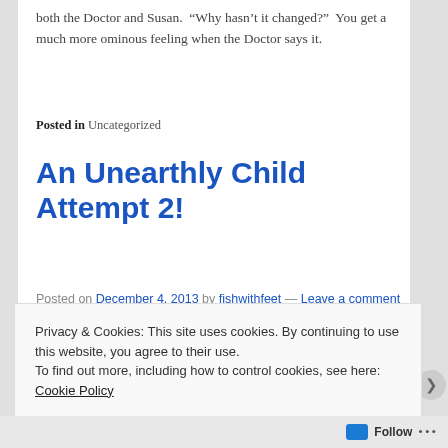both the Doctor and Susan.  “Why hasn’t it changed?”  You get a much more ominous feeling when the Doctor says it.
Posted in Uncategorized
An Unearthly Child Attempt 2!
Posted on December 4, 2013 by fishwithfeet — Leave a comment
[Figure (photo): Black and white photograph strip, partially visible]
Privacy & Cookies: This site uses cookies. By continuing to use this website, you agree to their use.
To find out more, including how to control cookies, see here: Cookie Policy
Close and accept
Follow